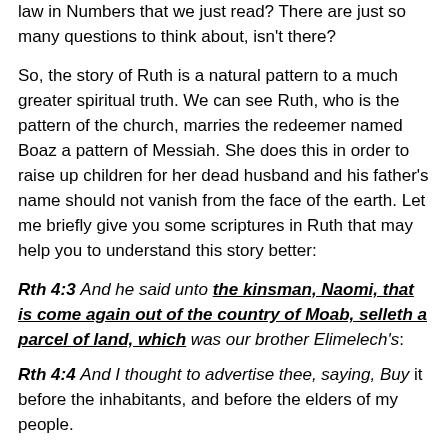law in Numbers that we just read?  There are just so many questions to think about, isn't there?
So, the story of Ruth is a natural pattern to a much greater spiritual truth.  We can see Ruth, who is the pattern of the church, marries the redeemer named Boaz a pattern of Messiah.  She does this in order to raise up children for her dead husband and his father's name should not vanish from the face of the earth.  Let me briefly give you some scriptures in Ruth that may help you to understand this story better:
Rth 4:3  And he said unto the kinsman, Naomi, that is come again out of the country of Moab, selleth a parcel of land, which was our brother Elimelech's:
Rth 4:4  And I thought to advertise thee, saying, Buy it before the inhabitants, and before the elders of my people.